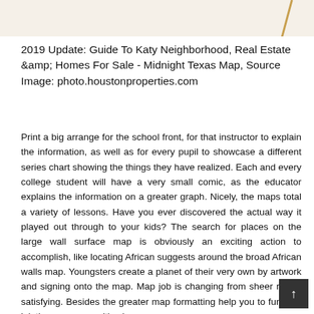[Figure (illustration): Top decorative banner image with beige/cream background and a diagonal golden/amber line on the right side]
2019 Update: Guide To Katy Neighborhood, Real Estate &amp;amp; Homes For Sale - Midnight Texas Map, Source Image: photo.houstonproperties.com
Print a big arrange for the school front, for that instructor to explain the information, as well as for every pupil to showcase a different series chart showing the things they have realized. Each and every college student will have a very small comic, as the educator explains the information on a greater graph. Nicely, the maps total a variety of lessons. Have you ever discovered the actual way it played out through to your kids? The search for places on the large wall surface map is obviously an exciting action to accomplish, like locating African suggests around the broad African walls map. Youngsters create a planet of their very own by artwork and signing onto the map. Map job is changing from sheer rep to satisfying. Besides the greater map formatting help you to function jointly on one map, it's also